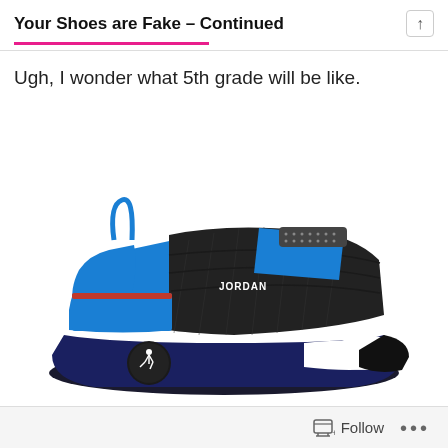Your Shoes are Fake – Continued
Ugh, I wonder what 5th grade will be like.
[Figure (photo): A Nike Jordan sneaker in blue, black, and white colorway with velcro strap and Jumpman logo on the sole.]
Follow